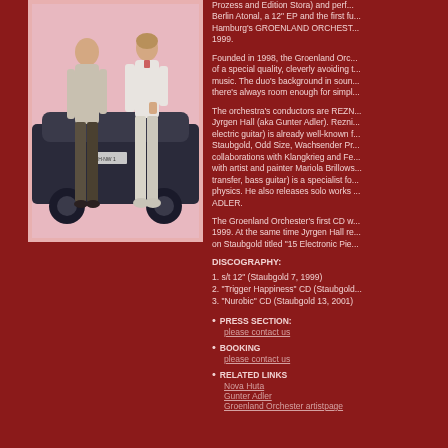[Figure (photo): Two people standing in front of a car, against a pink background. One person on the left wearing dark trousers and light top, one on the right wearing light trousers and white top.]
Prozess and Edition Stora) and performed at Berlin Atonal, a 12" EP and the first full CD of Hamburg's GROENLAND ORCHESTER came in 1999.
Founded in 1998, the Groenland Orchester is of a special quality, cleverly avoiding trends in music. The duo's background in sound ensures there's always room enough for simpl
The orchestra's conductors are REZN and Jyrgen Hall (aka Gunter Adler). Rezni... electric guitar) is already well-known for Staubgold, Odd Size, Wachsender Pr... collaborations with Klangkrieg and Fe... with artist and painter Mariola Brillows... transfer, bass guitar) is a specialist fo... physics. He also releases solo works ... ADLER.
The Groenland Orchester's first CD w... 1999. At the same time Jyrgen Hall re... on Staubgold titled "15 Electronic Pie...
DISCOGRAPHY:
1. s/t 12" (Staubgold 7, 1999)
2. "Trigger Happiness" CD (Staubgold...
3. "Nurobic" CD (Staubgold 13, 2001)
PRESS SECTION: please contact us
BOOKING please contact us
RELATED LINKS Nova Huta Gunter Adler Groenland Orchester artistpage